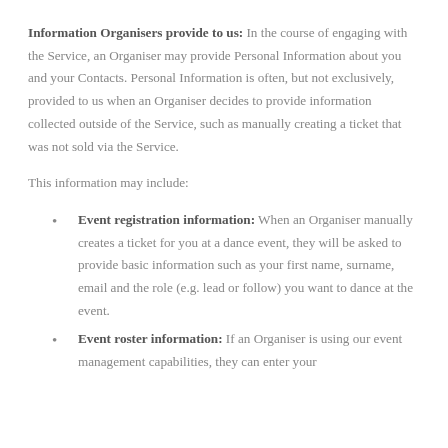Information Organisers provide to us: In the course of engaging with the Service, an Organiser may provide Personal Information about you and your Contacts. Personal Information is often, but not exclusively, provided to us when an Organiser decides to provide information collected outside of the Service, such as manually creating a ticket that was not sold via the Service.
This information may include:
Event registration information: When an Organiser manually creates a ticket for you at a dance event, they will be asked to provide basic information such as your first name, surname, email and the role (e.g. lead or follow) you want to dance at the event.
Event roster information: If an Organiser is using our event management capabilities, they can enter your